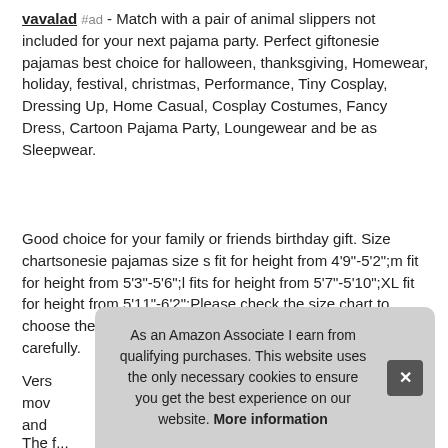vavalad #ad - Match with a pair of animal slippers not included for your next pajama party. Perfect giftonesie pajamas best choice for halloween, thanksgiving, Homewear, holiday, festival, christmas, Performance, Tiny Cosplay, Dressing Up, Home Casual, Cosplay Costumes, Fancy Dress, Cartoon Pajama Party, Loungewear and be as Sleepwear.
Good choice for your family or friends birthday gift. Size chartsonesie pajamas size s fit for height from 4'9"-5'2";m fit for height from 5'3"-5'6";l fits for height from 5'7"-5'10";XL fit for height from 5'11"-6'2";Please check the size chart to choose the right size for your new one piece pajamas carefully.
Vers... mov... and...
As an Amazon Associate I earn from qualifying purchases. This website uses the only necessary cookies to ensure you get the best experience on our website. More information